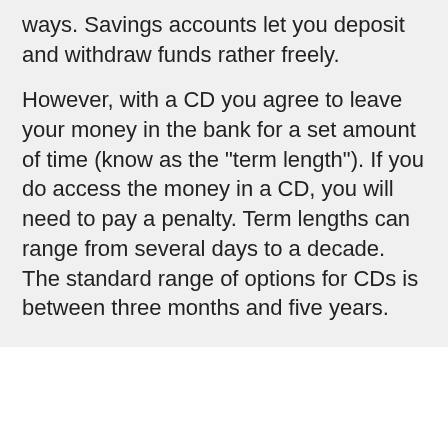ways. Savings accounts let you deposit and withdraw funds rather freely.
However, with a CD you agree to leave your money in the bank for a set amount of time (know as the “term length”). If you do access the money in a CD, you will need to pay a penalty. Term lengths can range from several days to a decade. The standard range of options for CDs is between three months and five years.
[Figure (screenshot): Dark newsletter signup banner with text 'GET THE WORLD'S BEST NATURAL HEALTH NEWSLETTER DELIVERED STRAIGHT TO YOUR INBOX' and an email input field with a SUBSCRIBE button. A cookie consent popup overlays the banner, stating 'BY CONTINUING TO BROWSE OUR SITE YOU AGREE TO OUR USE OF COOKIES AND OUR PRIVACY POLICY.' with an 'Agree and close' button.]